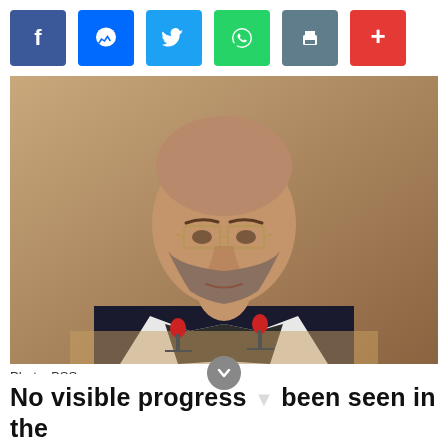[Figure (other): Social media sharing buttons: Facebook, Messenger, Twitter, WhatsApp, Print, Plus]
[Figure (photo): A man with glasses, balding head, and beard sitting in a black leather chair at a desk with microphones in front of him. Wooden background. Photo credit: BSS.]
Photo: BSS
No visible progress has been seen in the